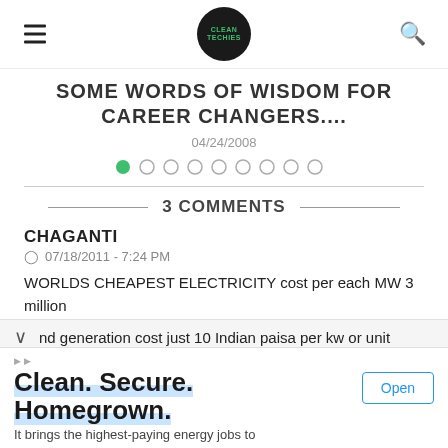CLEANTECHIES (logo) navigation header
SOME WORDS OF WISDOM FOR CAREER CHANGERS....
04/24/2008
[Figure (infographic): Pagination dots: 9 dots, first one filled green, rest empty circles]
3 COMMENTS
CHAGANTI
07/18/2011 - 7:24 PM
WORLDS CHEAPEST ELECTRICITY cost per each MW 3 million
nd generation cost just 10 Indian paisa per kw or unit
Clean. Secure. Homegrown.
It brings the highest-paying energy jobs to